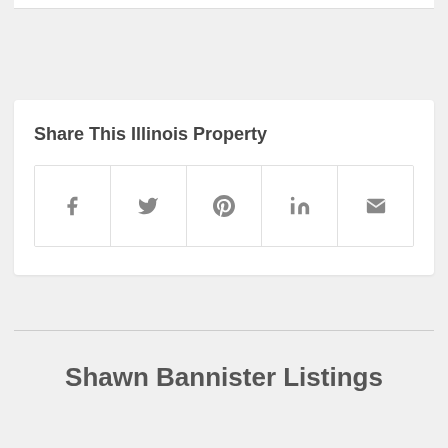Share This Illinois Property
[Figure (infographic): Social sharing buttons row with Facebook, Twitter, Pinterest, LinkedIn, and Email icons in a bordered grid layout]
Shawn Bannister Listings